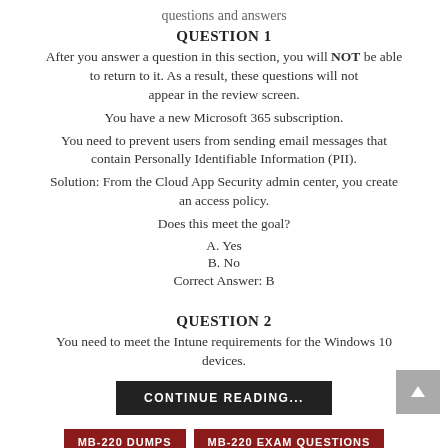questions and answers
QUESTION 1
After you answer a question in this section, you will NOT be able to return to it. As a result, these questions will not appear in the review screen.
You have a new Microsoft 365 subscription.
You need to prevent users from sending email messages that contain Personally Identifiable Information (PII).
Solution: From the Cloud App Security admin center, you create an access policy.
Does this meet the goal?
A. Yes
B. No
Correct Answer: B
QUESTION 2
You need to meet the Intune requirements for the Windows 10 devices.
CONTINUE READING...
MB-220 DUMPS   MB-220 EXAM QUESTIONS